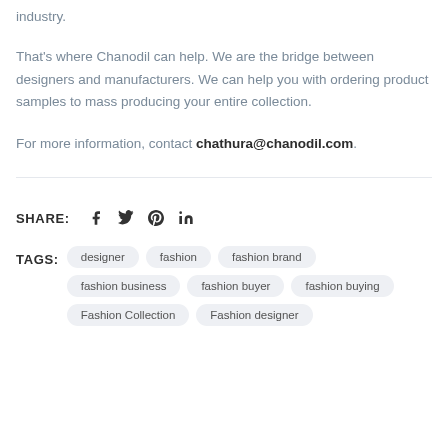industry.
That’s where Chanodil can help. We are the bridge between designers and manufacturers. We can help you with ordering product samples to mass producing your entire collection.
For more information, contact chathura@chanodil.com.
SHARE: [facebook] [twitter] [pinterest] [linkedin]
TAGS: designer  fashion  fashion brand  fashion business  fashion buyer  fashion buying  Fashion Collection  Fashion designer